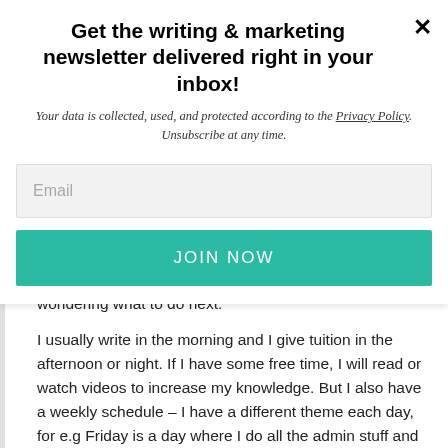Get the writing & marketing newsletter delivered right in your inbox!
Your data is collected, used, and protected according to the Privacy Policy. Unsubscribe at any time.
Email
JOIN NOW
wondering what to do next.
I usually write in the morning and I give tuition in the afternoon or night. If I have some free time, I will read or watch videos to increase my knowledge. But I also have a weekly schedule – I have a different theme each day, for e.g Friday is a day where I do all the admin stuff and Saturday is for relaxation etc.